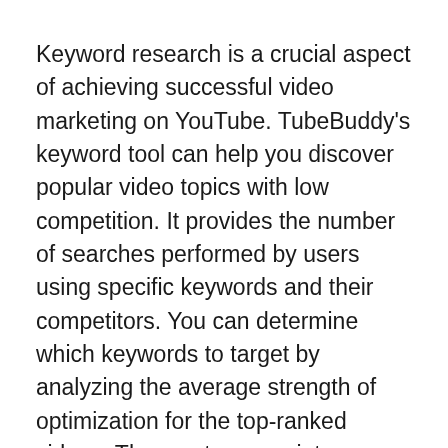Keyword research is a crucial aspect of achieving successful video marketing on YouTube. TubeBuddy's keyword tool can help you discover popular video topics with low competition. It provides the number of searches performed by users using specific keywords and their competitors. You can determine which keywords to target by analyzing the average strength of optimization for the top-ranked videos. The most appropriate keyword can help you improve the visibility of your YouTube video in a specific market.
TubeBuddy also allows you to create thumbnails for every video that you upload. TubeBuddy suggests that thumbnails are